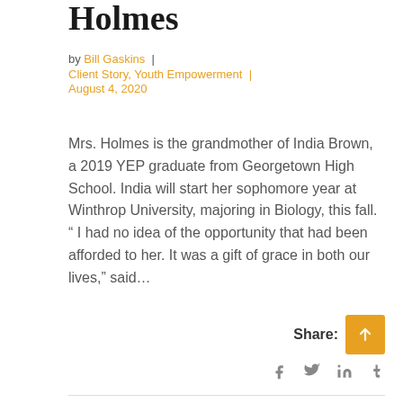Holmes
by Bill Gaskins  |  Client Story, Youth Empowerment  |  August 4, 2020
Mrs. Holmes is the grandmother of India Brown, a 2019 YEP graduate from Georgetown High School. India will start her sophomore year at Winthrop University, majoring in Biology, this fall. “ I had no idea of the opportunity that had been afforded to her. It was a gift of grace in both our lives,” said…
Share: